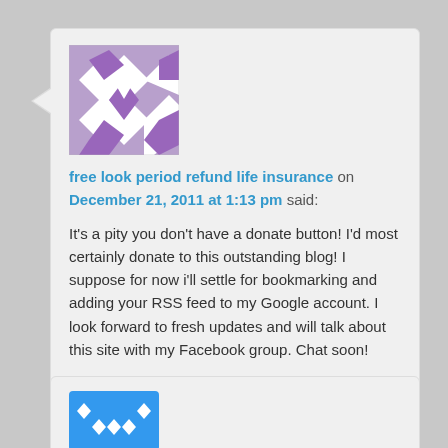[Figure (illustration): User avatar: purple and white geometric/diamond pattern tile avatar image]
free look period refund life insurance on December 21, 2011 at 1:13 pm said:
It's a pity you don't have a donate button! I'd most certainly donate to this outstanding blog! I suppose for now i'll settle for bookmarking and adding your RSS feed to my Google account. I look forward to fresh updates and will talk about this site with my Facebook group. Chat soon!
★ Like
[Figure (illustration): User avatar: blue square with white diamond dots pattern avatar image (partially visible)]